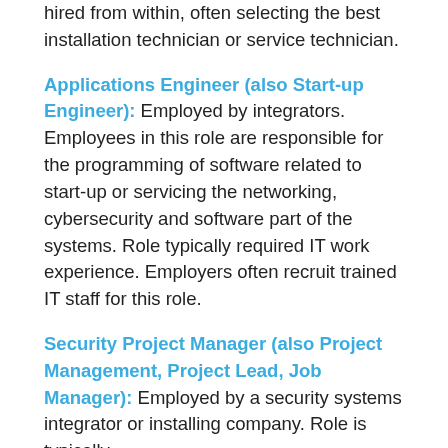hired from within, often selecting the best installation technician or service technician.
Applications Engineer (also Start-up Engineer): Employed by integrators. Employees in this role are responsible for the programming of software related to start-up or servicing the networking, cybersecurity and software part of the systems. Role typically required IT work experience. Employers often recruit trained IT staff for this role.
Security Project Manager (also Project Management, Project Lead, Job Manager): Employed by a security systems integrator or installing company. Role is typically